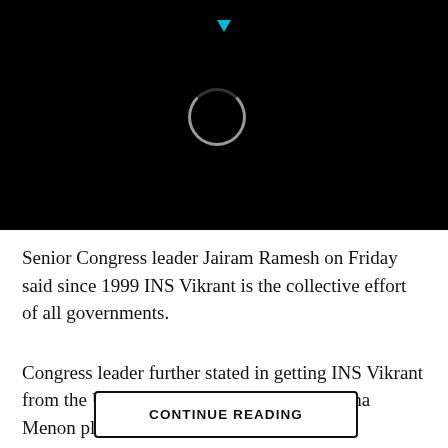[Figure (screenshot): Black header area with a loading spinner circle and a small cyan/blue triangle at the top center, indicating a video or media player loading state.]
Senior Congress leader Jairam Ramesh on Friday said since 1999 INS Vikrant is the collective effort of all governments.
Congress leader further stated in getting INS Vikrant from the UK former defense minister Krishna Menon played a key role.
Taking to Twitter Jairam Ramesh tweeted, “India’s 1st indigenous aircraft carrier INS Vikrant commissioned today is a collective effort of all govts since 1999. Will
CONTINUE READING